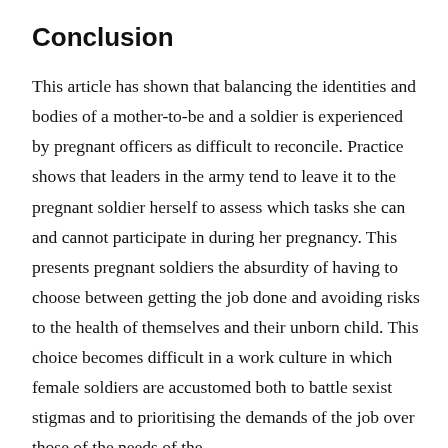Conclusion
This article has shown that balancing the identities and bodies of a mother-to-be and a soldier is experienced by pregnant officers as difficult to reconcile. Practice shows that leaders in the army tend to leave it to the pregnant soldier herself to assess which tasks she can and cannot participate in during her pregnancy. This presents pregnant soldiers the absurdity of having to choose between getting the job done and avoiding risks to the health of themselves and their unborn child. This choice becomes difficult in a work culture in which female soldiers are accustomed both to battle sexist stigmas and to prioritising the demands of the job over those of the needs of the